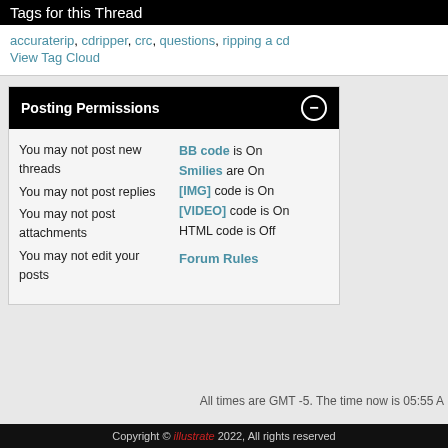Tags for this Thread
accuraterip, cdripper, crc, questions, ripping a cd
View Tag Cloud
Posting Permissions
You may not post new threads
You may not post replies
You may not post attachments
You may not edit your posts
BB code is On
Smilies are On
[IMG] code is On
[VIDEO] code is On
HTML code is Off
Forum Rules
All times are GMT -5. The time now is 05:55 A
Copyright © illustrate 2022, All rights reserved